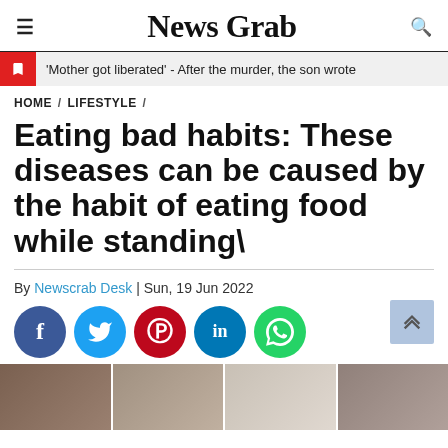News Crab
'Mother got liberated' - After the murder, the son wrote
HOME / LIFESTYLE /
Eating bad habits: These diseases can be caused by the habit of eating food while standing\
By Newscrab Desk | Sun, 19 Jun 2022
[Figure (other): Social media share buttons: Facebook, Twitter, Pinterest, LinkedIn, WhatsApp]
[Figure (photo): Photo strip showing people eating or in lifestyle context]